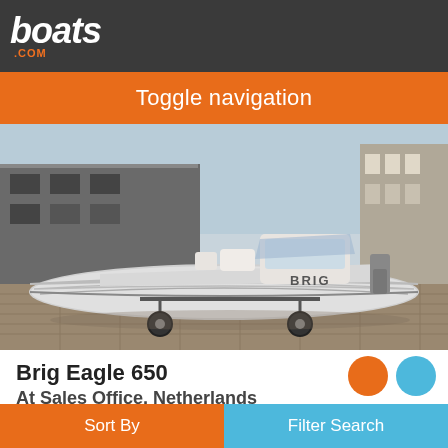boats.com
Toggle navigation
[Figure (photo): A white BRIG Eagle 650 RIB inflatable boat on a trailer parked on a paved area outside a building. The boat is white with grey inflatable tubes and has a center console with seating.]
Brig Eagle 650
At Sales Office, Netherlands
2014
£29,838
Sort By   Filter Search